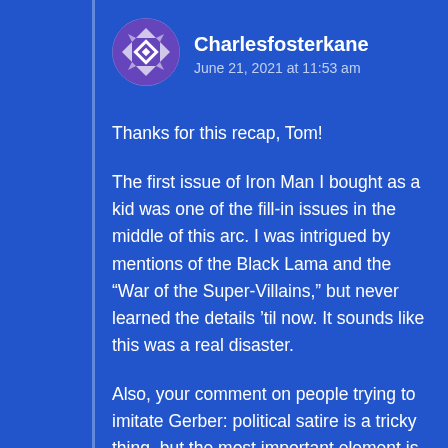[Figure (illustration): Round avatar icon with purple/white geometric quilt-like pattern]
Charlesfosterkane
June 21, 2021 at 11:53 am
Thanks for this recap, Tom!
The first issue of Iron Man I bought as a kid was one of the fill-in issues in the middle of this arc. I was intrigued by mentions of the Black Lama and the “War of the Super-Villains,” but never learned the details ’til now. It sounds like this was a real disaster.
Also, your comment on people trying to imitate Gerber: political satire is a tricky thing, but the most important element is that the writer actually, you know, SATIRIZES something. I can